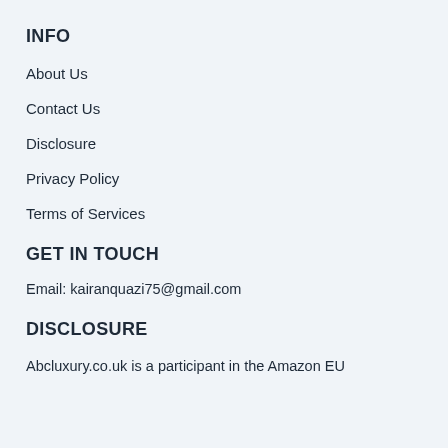INFO
About Us
Contact Us
Disclosure
Privacy Policy
Terms of Services
GET IN TOUCH
Email: kairanquazi75@gmail.com
DISCLOSURE
Abcluxury.co.uk is a participant in the Amazon EU